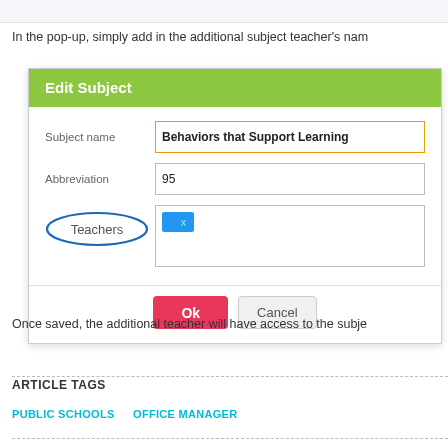[Figure (screenshot): Top partial screenshot showing a table/grid at the top of the page]
In the pop-up, simply add in the additional subject teacher's nam
[Figure (screenshot): Edit Subject dialog box with fields: Subject name (Behaviors that Support Learning), Abbreviation (95), Teachers (with a blue tag and x button), Ok and Cancel buttons]
Once saved, the additional teacher will have access to the subje
ARTICLE TAGS
PUBLIC SCHOOLS
OFFICE MANAGER